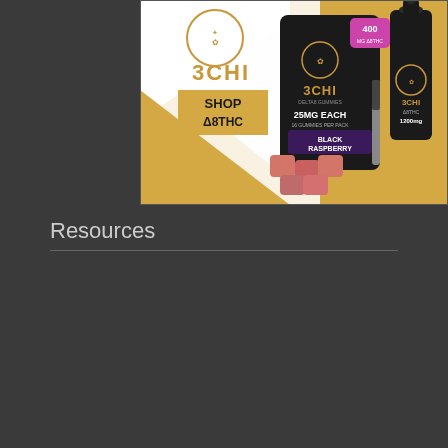[Figure (photo): 3CHI Delta 8 THC advertisement showing black packaging of gummies (Black Raspberry, 400mg, 25mg each, 16 gummies per pack), a black dropper bottle (3CHI Delta 8 THC 1200mg), and pink/red gummy candies on a gold and white background with '3CHI SHOP DELTA8THC' text]
Resources
a green alternative recreational marijuana dispensary san diego, ca
marijuana alternative names
legal alternative to marijuana
marijuana alternative
alternative to marijuana